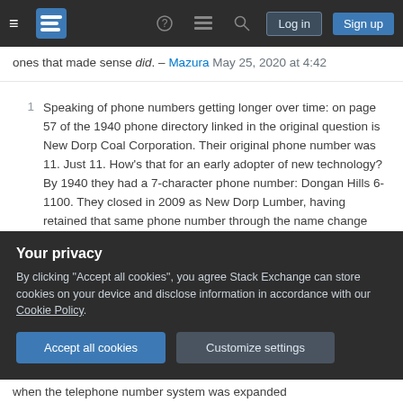Navigation bar with hamburger menu, logo, help, comments, search icons, Log in and Sign up buttons
ones that made sense did. – Mazura May 25, 2020 at 4:42
1  Speaking of phone numbers getting longer over time: on page 57 of the 1940 phone directory linked in the original question is New Dorp Coal Corporation. Their original phone number was 11. Just 11. How's that for an early adopter of new technology? By 1940 they had a 7-character phone number: Dongan Hills 6-1100. They closed in 2009 as New Dorp Lumber, having retained that same phone number through the name change until the end, with a sign in their back lot that still said New Dorp Coal. – MTA  May 26, 2020 at 21:12
Your privacy
By clicking "Accept all cookies", you agree Stack Exchange can store cookies on your device and disclose information in accordance with our Cookie Policy.
Accept all cookies    Customize settings
when the telephone number system was expanded